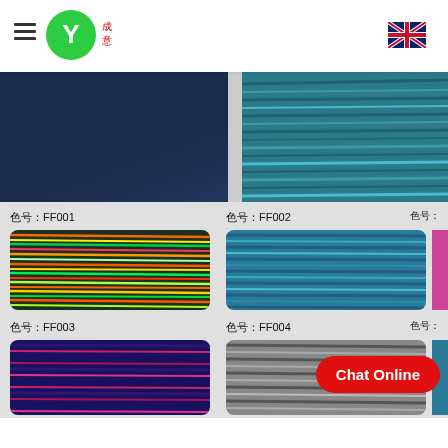[Figure (logo): Company logo with Y symbol in green circle and Chinese characters, hamburger menu icon on left, UK flag on right]
[Figure (photo): Top portion of color swatch card showing dark navy blue fabric swatch on left and teal/blue variegated yarn on right]
[Figure (photo): Color swatch grid showing FF001 (multicolor rainbow yarn), FF002 (teal blue yarn), FF003 (purple/dark navy yarn), FF004 (gray/charcoal yarn), and partial third column swatches]
Chat Online